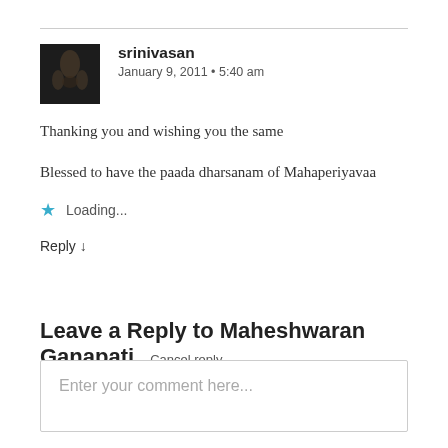srinivasan
January 9, 2011 • 5:40 am
Thanking you and wishing you the same
Blessed to have the paada dharsanam of Mahaperiyavaa
Loading...
Reply ↓
Leave a Reply to Maheshwaran Ganapati   Cancel reply
Enter your comment here...